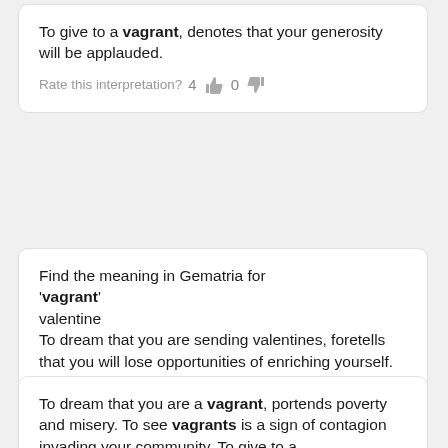To give to a vagrant, denotes that your generosity will be applauded.
Rate this interpretation? 4 👍 0 👎
Find the meaning in Gematria for 'vagrant'
valentine
To dream that you are sending valentines, foretells that you will lose opportunities of enriching yourself. For a young woman to receive one, denotes that she will marry a weak, but ardent lover against the counsels of her guardians. (read all at source)
Rate this interpretation? 1 👍 0 👎
To dream that you are a vagrant, portends poverty and misery. To see vagrants is a sign of contagion invading your community. To give to a